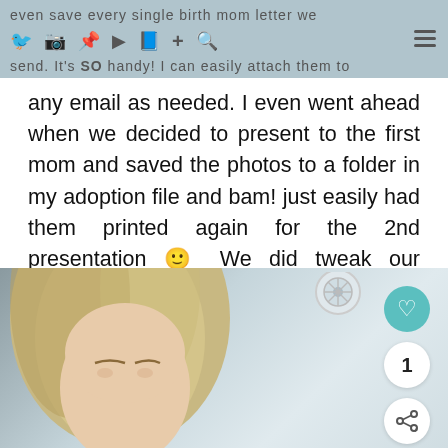even save every single birth mom letter we send. It's SO handy! I can easily attach them to
any email as needed. I even went ahead when we decided to present to the first mom and saved the photos to a folder in my adoption file and bam! just easily had them printed again for the 2nd presentation 🙂 We did tweak our answers some from the first set of questions but even those I had saved and it made it much less stressful to fill out.
[Figure (photo): Partial view of a woman with blonde hair in a car, with a car wheel visible in the background. Social media interaction buttons visible on the right (heart/like, count of 1, share).]